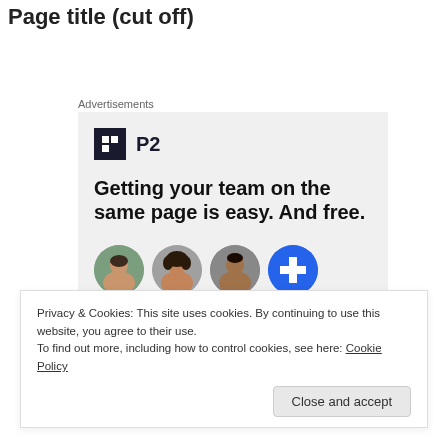Page title (cut off)
Advertisements
[Figure (other): P2 advertisement banner. Shows the P2 logo (dark square icon with 'P2' text), headline text 'Getting your team on the same page is easy. And free.' and four circular avatar images at the bottom (three person photos and one blue circle with a plus sign).]
Privacy & Cookies: This site uses cookies. By continuing to use this website, you agree to their use.
To find out more, including how to control cookies, see here: Cookie Policy
Close and accept